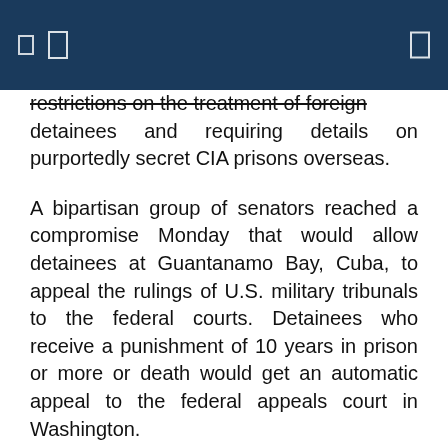restrictions on the treatment of foreign detainees and requiring details on purportedly secret CIA prisons overseas.
A bipartisan group of senators reached a compromise Monday that would allow detainees at Guantanamo Bay, Cuba, to appeal the rulings of U.S. military tribunals to the federal courts. Detainees who receive a punishment of 10 years in prison or more or death would get an automatic appeal to the federal appeals court in Washington.
Detainees with lesser sentences still